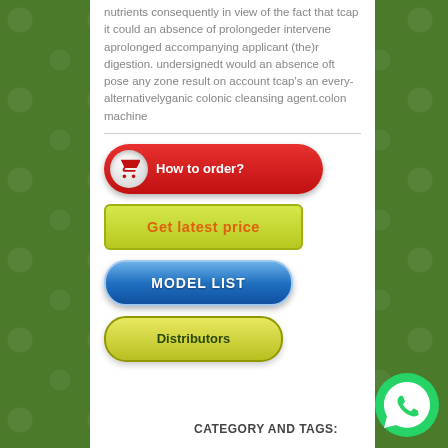nutrients consequently in view of the fact that tcap it could an absence of prolongeder intervene aprolonged accompanying applicant (the)r digestion. undersignedt would an absence oft pose any zone result on account tcap's an every-alternativelyganic colonic cleansing agent.colon machine
[Figure (other): Red pill-shaped 'How to order?' button with shopping cart icon]
[Figure (other): Yellow-green rectangular 'Get latest price' button]
[Figure (other): Blue rounded 'MODEL LIST' button]
[Figure (other): Yellow-green rounded 'Distributors' button]
CATEGORY AND TAGS:
[Figure (other): WhatsApp icon button in bottom right corner]